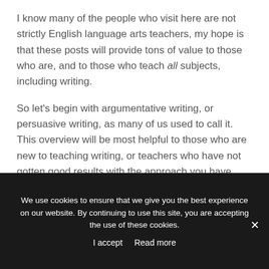I know many of the people who visit here are not strictly English language arts teachers, my hope is that these posts will provide tons of value to those who are, and to those who teach all subjects, including writing.
So let's begin with argumentative writing, or persuasive writing, as many of us used to call it. This overview will be most helpful to those who are new to teaching writing, or teachers who have not gotten good results with the approach you have taken up to now. I don't claim to have the definitive answer on how to do this, but the method I share here worked pretty well for me,
We use cookies to ensure that we give you the best experience on our website. By continuing to use this site, you are accepting the use of these cookies.
I accept   Read more